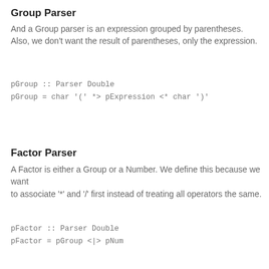Group Parser
And a Group parser is an expression grouped by parentheses.
Also, we don't want the result of parentheses, only the expression.
pGroup :: Parser Double
pGroup = char '(' *> pExpression <* char ')'
Factor Parser
A Factor is either a Group or a Number. We define this because we want
to associate '*' and '/' first instead of treating all operators the same.
pFactor :: Parser Double
pFactor = pGroup <|> pNum